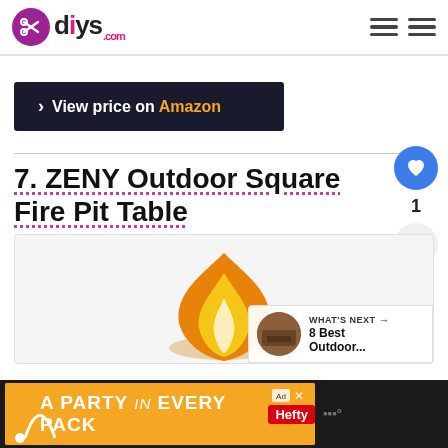diys.com
› View price on Amazon
7. ZENY Outdoor Square Fire Pit Table
[Figure (photo): Flame/fire image with ZENY fire pit, and a 'What's Next' widget showing '8 Best Outdoor...' with thumbnail]
A PARTY in EVERY PACK — Hefty advertisement banner